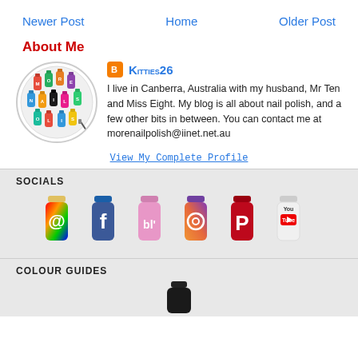Newer Post   Home   Older Post
About Me
[Figure (illustration): Circular profile image showing colorful nail polish bottles arranged in a circle with letters spelling MORE NAILS]
Kitties26
I live in Canberra, Australia with my husband, Mr Ten and Miss Eight. My blog is all about nail polish, and a few other bits in between. You can contact me at morenailpolish@iinet.net.au
View My Complete Profile
SOCIALS
[Figure (illustration): Six social media icons styled as nail polish bottles: email (@), Facebook (f), Bloglovin (bl'), Instagram, Pinterest (P), YouTube]
COLOUR GUIDES
[Figure (illustration): A dark nail polish bottle partially visible at bottom of page]